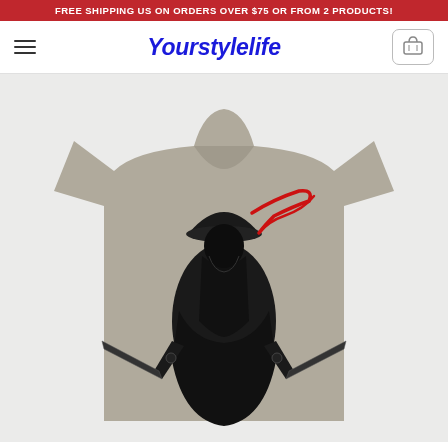FREE SHIPPING US ON ORDERS OVER $75 OR FROM 2 PRODUCTS!
Yourstylelife
[Figure (photo): Gray t-shirt featuring a black ink illustration of a samurai warrior wearing a conical hat with a red ribbon, holding two crossed katana swords. The samurai figure is rendered in a dark, brushstroke style against the gray fabric.]